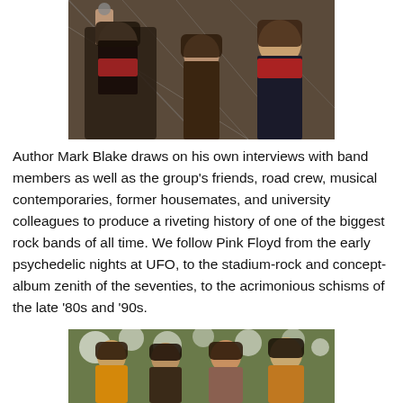[Figure (photo): Color photograph of Pink Floyd band members, three visible, one holding something up, with reflective background.]
Author Mark Blake draws on his own interviews with band members as well as the group's friends, road crew, musical contemporaries, former housemates, and university colleagues to produce a riveting history of one of the biggest rock bands of all time. We follow Pink Floyd from the early psychedelic nights at UFO, to the stadium-rock and concept-album zenith of the seventies, to the acrimonious schisms of the late '80s and '90s.
[Figure (photo): Color photograph of Pink Floyd band members (four), standing among flowers, in psychedelic-era clothing.]